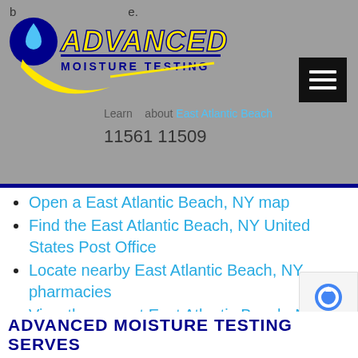[Figure (logo): Advanced Moisture Testing logo with blue circle/droplet icon, yellow italic ADVANCED text, and blue MOISTURE TESTING text with yellow swoosh]
Learn more about East Atlantic Beach
11561 11509
Open a East Atlantic Beach, NY map
Find the East Atlantic Beach, NY United States Post Office
Locate nearby East Atlantic Beach, NY pharmacies
View the current East Atlantic Beach, NY weather report
Browse a list of East Atlantic Beach, NY public and private schools
East Atlantic Beach, NY is located in Nassau county in New York State
ADVANCED MOISTURE TESTING SERVES